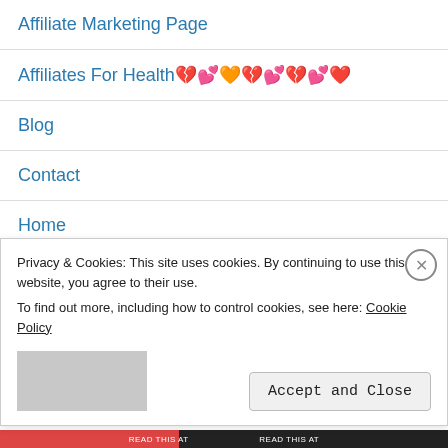Affiliate Marketing Page
Affiliates For Health 💔💔💔💔💔💔💔💔
Blog
Contact
Home
https://books2read.com/u/me9ABV
https://www.we-on-1s-the-iazzi-spot.com
Privacy & Cookies: This site uses cookies. By continuing to use this website, you agree to their use. To find out more, including how to control cookies, see here: Cookie Policy
Accept and Close